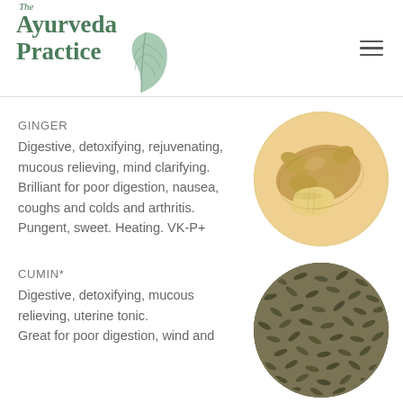[Figure (logo): The Ayurveda Practice logo with green text and a leaf illustration]
GINGER
Digestive, detoxifying, rejuvenating, mucous relieving, mind clarifying. Brilliant for poor digestion, nausea, coughs and colds and arthritis. Pungent, sweet. Heating. VK-P+
[Figure (photo): Circular photo of fresh ginger root pieces on white background]
CUMIN*
Digestive, detoxifying, mucous relieving, uterine tonic. Great for poor digestion, wind and
[Figure (photo): Circular photo of cumin seeds]